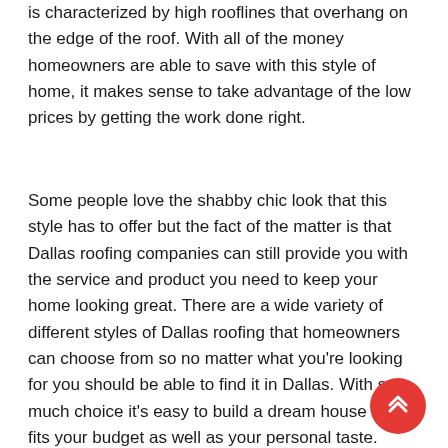is characterized by high rooflines that overhang on the edge of the roof. With all of the money homeowners are able to save with this style of home, it makes sense to take advantage of the low prices by getting the work done right.
Some people love the shabby chic look that this style has to offer but the fact of the matter is that Dallas roofing companies can still provide you with the service and product you need to keep your home looking great. There are a wide variety of different styles of Dallas roofing that homeowners can choose from so no matter what you're looking for you should be able to find it in Dallas. With so much choice it's easy to build a dream house that fits your budget as well as your personal taste. Don't let the price of a roofing company hold you back from getting a new roof installed in your Dallas home. Instead, contact a Dallas roofing company to see what they can do for you.